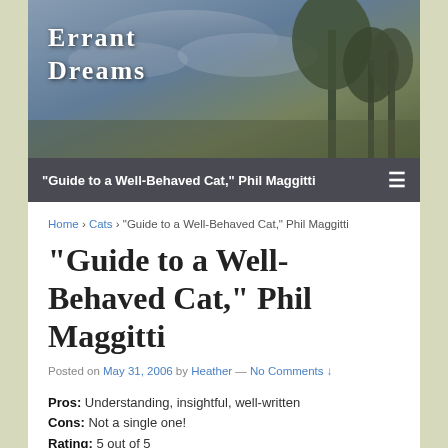[Figure (photo): Header banner image showing a moody sky with trees, with 'Errant Dreams' text overlay in serif font]
"Guide to a Well-Behaved Cat," Phil Maggitti
Home › Cats › "Guide to a Well-Behaved Cat," Phil Maggitti
"Guide to a Well-Behaved Cat," Phil Maggitti
Posted on May 31, 2006 by Heather — No Comments ↓
Pros: Understanding, insightful, well-written
Cons: Not a single one!
Rating: 5 out of 5